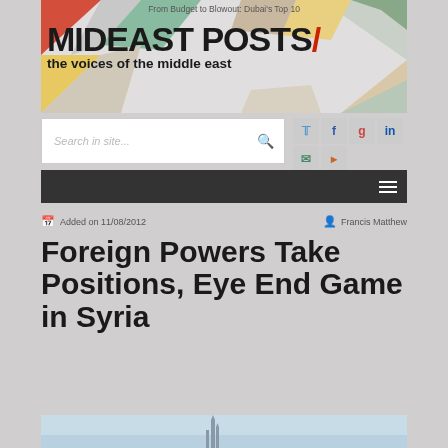From Budget to Blowout: Dubai's Top 10
MIDEAST POSTS/ the voices of the middle east
Search in site...
Added on 11/08/2012   Francis Matthew
Foreign Powers Take Positions, Eye End Game in Syria
[Figure (photo): Bottom of article page showing top of an article image]